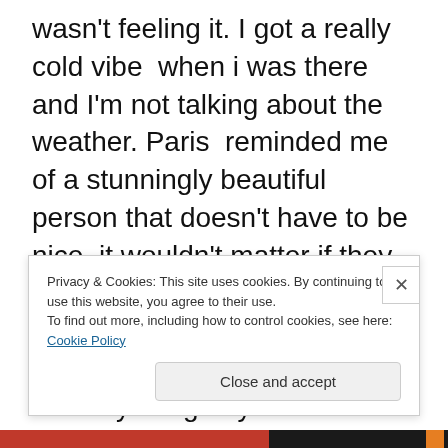wasn't feeling it. I got a really cold vibe  when i was there and I'm not talking about the weather. Paris  reminded me of a stunningly beautiful person that doesn't have to be nice, it wouldn't matter if they were or not or how smart they are or how talented because their looks are so striking its the only thing anyone is ever going to talk about. I absolutely loved the scenery, its right out of a fairy tale but as physically appeasing as it was i couldn't wait to get back to London. Desperately trying to get out of France was never something i thought would be a problem in my life but it turned out to be when the Eurostar
Privacy & Cookies: This site uses cookies. By continuing to use this website, you agree to their use.
To find out more, including how to control cookies, see here: Cookie Policy
Close and accept